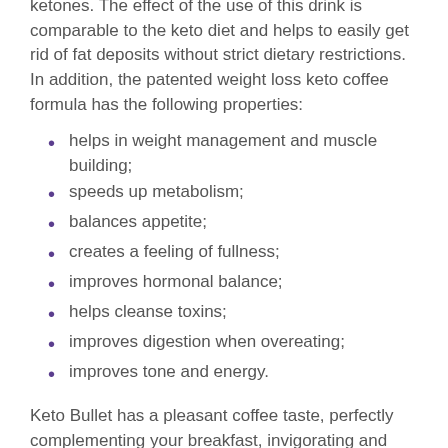ketones. The effect of the use of this drink is comparable to the keto diet and helps to easily get rid of fat deposits without strict dietary restrictions. In addition, the patented weight loss keto coffee formula has the following properties:
helps in weight management and muscle building;
speeds up metabolism;
balances appetite;
creates a feeling of fullness;
improves hormonal balance;
helps cleanse toxins;
improves digestion when overeating;
improves tone and energy.
Keto Bullet has a pleasant coffee taste, perfectly complementing your breakfast, invigorating and